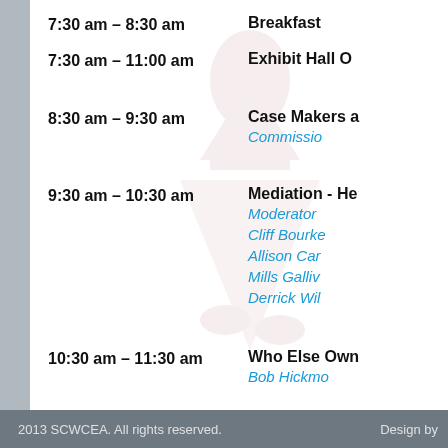7:30 am – 8:30 am | Breakfast
7:30 am – 11:00 am | Exhibit Hall O
8:30 am – 9:30 am | Case Makers a... | Commissioner...
9:30 am – 10:30 am | Mediation - He... | Moderator: Cliff Bourke, Allison Car..., Mills Galliv..., Derrick Wil...
10:30 am – 11:30 am | Who Else Own... | Bob Hickm...
11:30 am | Closing Remar... | Grady L. Be... | Robinson G...
11:30 am – 11:45 am | Annual Busin... | Election of 2023...
2013 SCWCEA. All rights reserved.    Design by